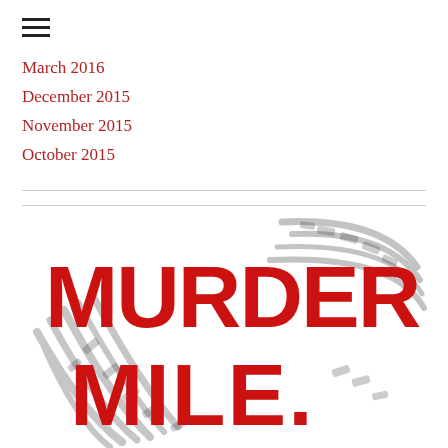[Figure (other): Hamburger menu icon (three horizontal lines)]
March 2016
December 2015
November 2015
October 2015
[Figure (logo): Murder Mile podcast logo — bold red text reading MURDER MILE. on a grey fingerprint/shoe-print stamp background]